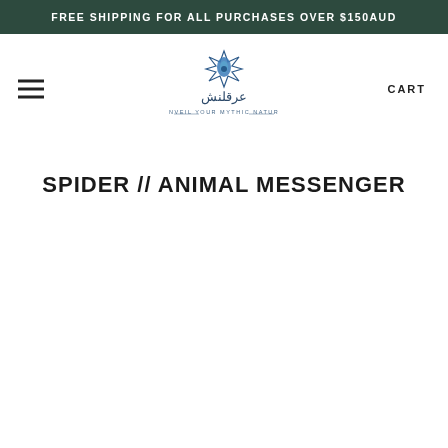FREE SHIPPING FOR ALL PURCHASES OVER $150AUD
[Figure (logo): Arkenish brand logo with Arabic calligraphy and geometric star design, tagline: UNVEIL YOUR MYTHIC NATURE]
SPIDER // ANIMAL MESSENGER